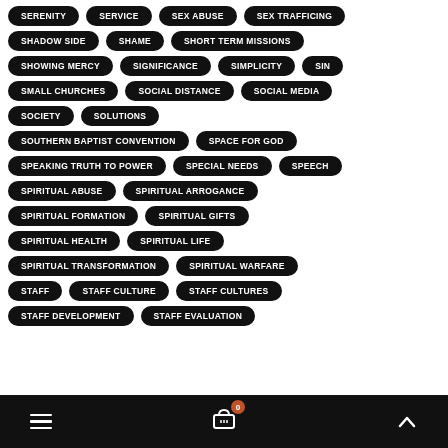SERENITY
SERVICE
SEX ABUSE
SEX TRAFFICING
SHADOW SIDE
SHAME
SHORT TERM MISSIONS
SHOWING MERCY
SIGNIFICANCE
SIMPLICITY
SIN
SMALL CHURCHES
SOCIAL DISTANCE
SOCIAL MEDIA
SOCIETY
SOLUTIONS
SOUTHERN BAPTIST CONVENTION
SPACE FOR GOD
SPEAKING TRUTH TO POWER
SPECIAL NEEDS
SPEECH
SPIRITUAL ABUSE
SPIRITUAL ARROGANCE
SPIRITUAL FORMATION
SPIRITUAL GIFTS
SPIRITUAL HEALTH
SPIRITUAL LIFE
SPIRITUAL TRANSFORMATION
SPIRITUAL WARFARE
STAFF
STAFF CULTURE
STAFF CULTURES
STAFF DEVELOPMENT
STAFF EVALUATION
≡  🛒 0  ∧